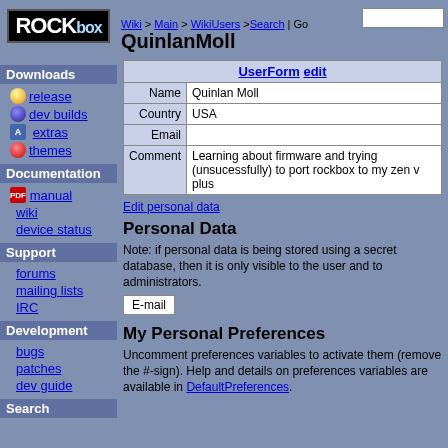Wiki > Main > WikiUsers > Search | Go
QuinlanMoll
| UserForm edit |
| --- |
| Name | Quinlan Moll |
| Country | USA |
| Email |  |
| Comment | Learning about firmware and trying (unsucessfully) to port rockbox to my zen v plus |
Edit personal data
Personal Data
Note: if personal data is being stored using a secret database, then it is only visible to the user and to administrators.
E-mail
My Personal Preferences
Uncomment preferences variables to activate them (remove the #-sign). Help and details on preferences variables are available in DefaultPreferences.